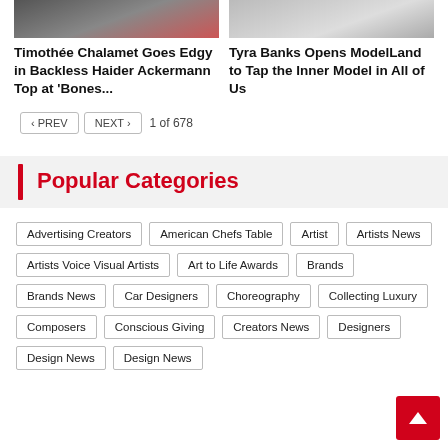[Figure (photo): Photo of Timothée Chalamet in a red outfit at an event]
[Figure (photo): Photo of Tyra Banks in a white outfit]
Timothée Chalamet Goes Edgy in Backless Haider Ackermann Top at 'Bones...
Tyra Banks Opens ModelLand to Tap the Inner Model in All of Us
< PREV   NEXT >   1 of 678
Popular Categories
Advertising Creators
American Chefs Table
Artist
Artists News
Artists Voice Visual Artists
Art to Life Awards
Brands
Brands News
Car Designers
Choreography
Collecting Luxury
Composers
Conscious Giving
Creators News
Designers
Design News
Design News